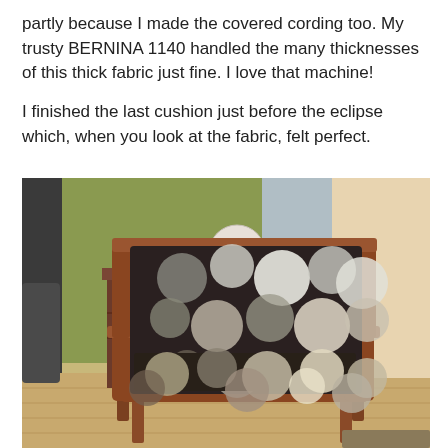partly because I made the covered cording too. My trusty BERNINA 1140 handled the many thicknesses of this thick fabric just fine. I love that machine!

I finished the last cushion just before the eclipse which, when you look at the fabric, felt perfect.
[Figure (photo): A mid-century modern wooden armchair reupholstered with a dark fabric featuring large grey and white polka dots/circles, placed in a living room setting next to a wooden dresser with decorative items on top.]